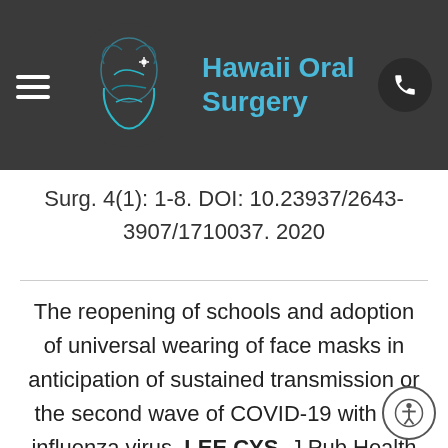Hawaii Oral Surgery
Surg. 4(1): 1-8. DOI: 10.23937/2643-3907/1710037. 2020
The reopening of schools and adoption of universal wearing of face masks in anticipation of sustained transmission or the second wave of COVID-19 with the influenza virus. LEE CYS. J Pub Health Int 20-3442. DOI: 10.14302. 2020.